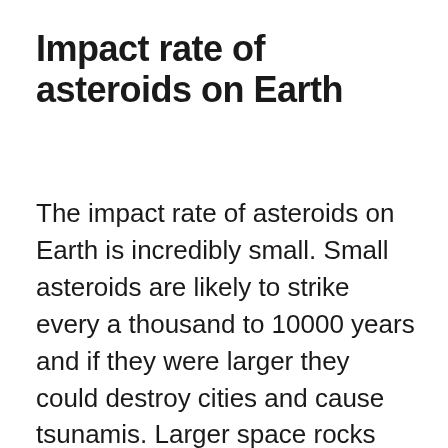Impact rate of asteroids on Earth
The impact rate of asteroids on Earth is incredibly small. Small asteroids are likely to strike every a thousand to 10000 years and if they were larger they could destroy cities and cause tsunamis. Larger space rocks would simply burn up in the Earth's atmosphere but the size of some asteroids is too small for the planet to